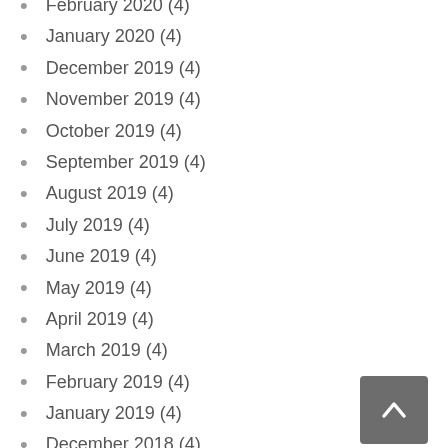February 2020 (4)
January 2020 (4)
December 2019 (4)
November 2019 (4)
October 2019 (4)
September 2019 (4)
August 2019 (4)
July 2019 (4)
June 2019 (4)
May 2019 (4)
April 2019 (4)
March 2019 (4)
February 2019 (4)
January 2019 (4)
December 2018 (4)
November 2018 (5)
October 2018 (4)